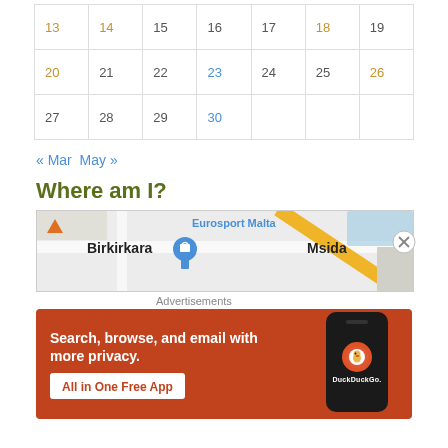| 13 | 14 | 15 | 16 | 17 | 18 | 19 |
| 20 | 21 | 22 | 23 | 24 | 25 | 26 |
| 27 | 28 | 29 | 30 |  |  |  |
« Mar  May »
Where am I?
[Figure (map): Google Maps snippet showing Birkirkara and Msida areas in Malta, with Eurosport Malta label and a location pin marker]
[Figure (screenshot): DuckDuckGo advertisement: 'Search, browse, and email with more privacy. All in One Free App' with phone graphic showing DuckDuckGo logo]